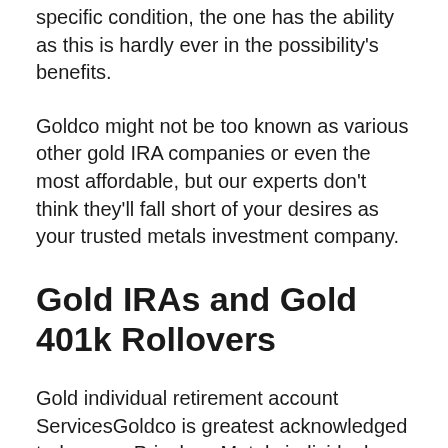specific condition, the one has the ability as this is hardly ever in the possibility's benefits.
Goldco might not be too known as various other gold IRA companies or even the most affordable, but our experts don't think they'll fall short of your desires as your trusted metals investment company.
Gold IRAs and Gold 401k Rollovers
Gold individual retirement account ServicesGoldco is greatest acknowledged today as a Priceless Metals individual retirement account professional, aiding their consumers begin, rollover or even transfer their individual retirement accounts